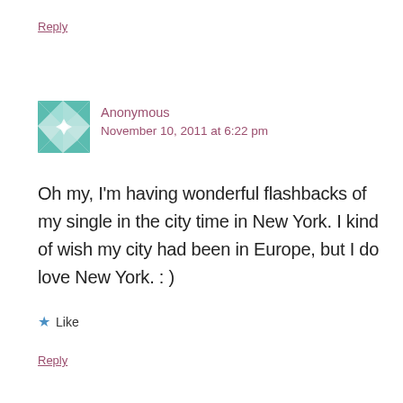Reply
[Figure (illustration): Geometric tiled avatar icon with teal/green diamond and star pattern on white background]
Anonymous
November 10, 2011 at 6:22 pm
Oh my, I'm having wonderful flashbacks of my single in the city time in New York. I kind of wish my city had been in Europe, but I do love New York. : )
★ Like
Reply